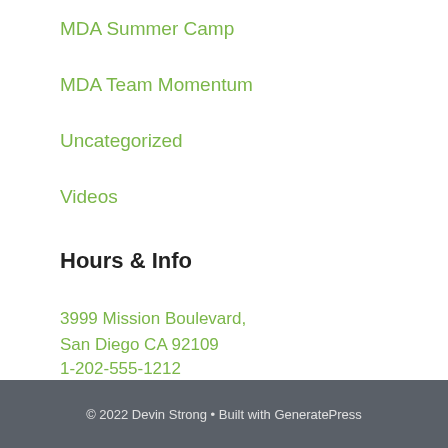MDA Summer Camp
MDA Team Momentum
Uncategorized
Videos
Hours & Info
3999 Mission Boulevard,
San Diego CA 92109
1-202-555-1212
Lunch: 11am - 2pm
Dinner: M-Th 5pm - 11pm, Fri-Sat:5pm - 1am
© 2022 Devin Strong • Built with GeneratePress